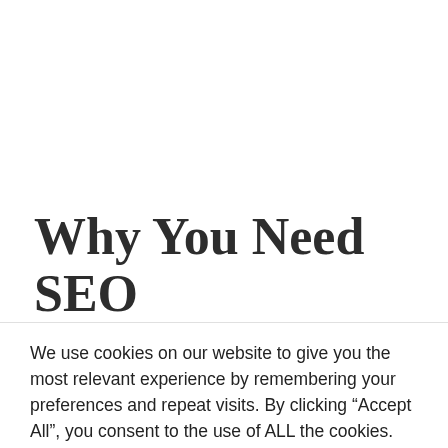Why You Need SEO Training
We use cookies on our website to give you the most relevant experience by remembering your preferences and repeat visits. By clicking “Accept All”, you consent to the use of ALL the cookies. However, you may visit "Cookie Settings" to provide a controlled consent.
Cookie Settings | Accept All